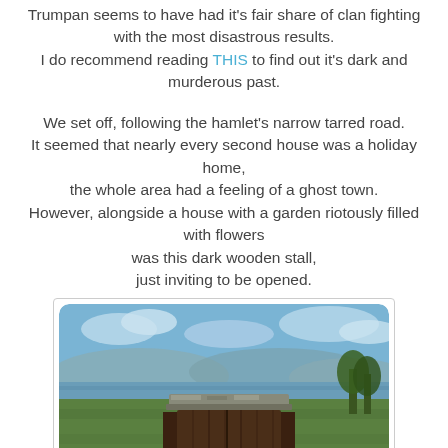Trumpan seems to have had it's fair share of clan fighting with the most disastrous results. I do recommend reading THIS to find out it's dark and murderous past.
We set off, following the hamlet's narrow tarred road. It seemed that nearly every second house was a holiday home, the whole area had a feeling of a ghost town. However, alongside a house with a garden riotously filled with flowers was this dark wooden stall, just inviting to be opened.
[Figure (photo): A dark wooden stall/shed with a flat stone-covered roof, standing in an open green field. In the background is a body of water and distant hills under a blue sky with clouds.]